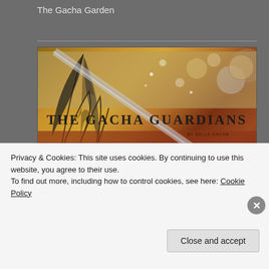The Gacha Garden
[Figure (illustration): The Gacha Guardians banner image with sword, feather, cosmic background elements, and bold text reading THE GACHA GUARDIANS by Bella Gacha]
The Gacha Guardians
[Figure (illustration): Hair Fair 2014 event banner with red magnet logo and text Join Us 12th - 27th July in red bold lettering]
Privacy & Cookies: This site uses cookies. By continuing to use this website, you agree to their use.
To find out more, including how to control cookies, see here: Cookie Policy
Close and accept